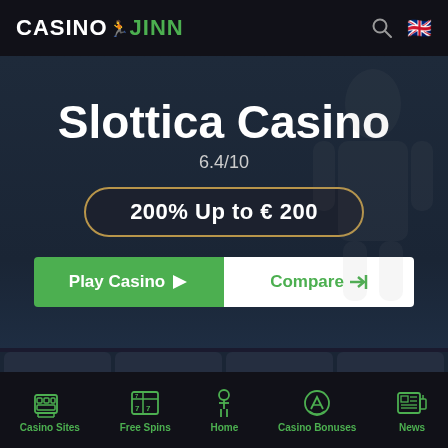CASINO JINN
Slottica Casino
6.4/10
200% Up to € 200
Play Casino
Compare
[Figure (screenshot): Navigation tiles: Overview, Bonus, (Casino/Bank icon), (Person icon)]
Casino Sites | Free Spins | Home | Casino Bonuses | News